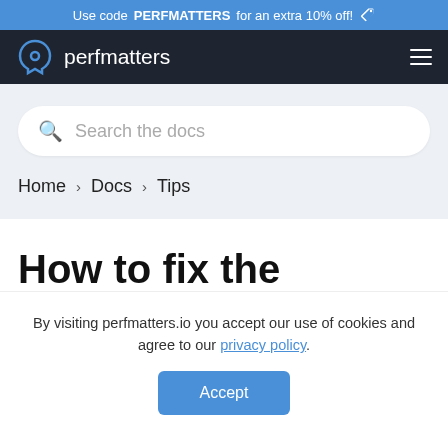Use code PERFMATTERS for an extra 10% off!
[Figure (logo): Perfmatters logo and wordmark on dark navy navigation bar with hamburger menu icon]
Search the docs
Home › Docs › Tips
How to fix the
By visiting perfmatters.io you accept our use of cookies and agree to our privacy policy.
Accept